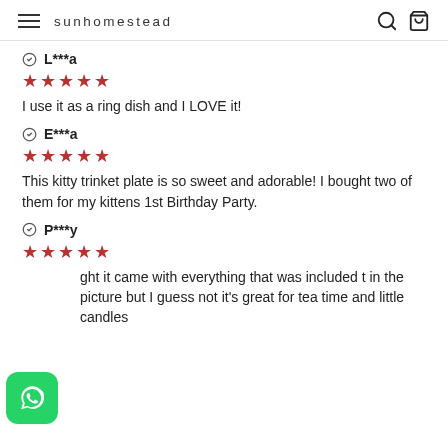sunhomestead
L***a
★★★★★
I use it as a ring dish and I LOVE it!
E***a
★★★★★
This kitty trinket plate is so sweet and adorable! I bought two of them for my kittens 1st Birthday Party.
P***y
★★★★★
ght it came with everything that was included t in the picture but I guess not it's great for tea time and little candles